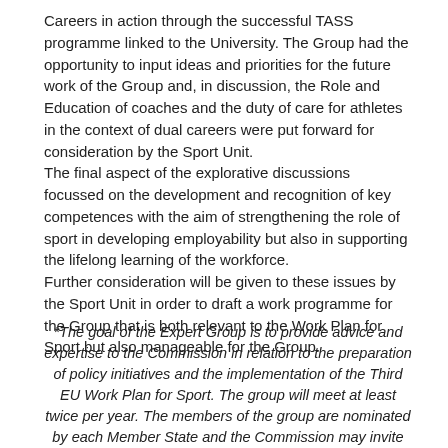Careers in action through the successful TASS programme linked to the University. The Group had the opportunity to input ideas and priorities for the future work of the Group and, in discussion, the Role and Education of coaches and the duty of care for athletes in the context of dual careers were put forward for consideration by the Sport Unit.
The final aspect of the explorative discussions focussed on the development and recognition of key competences with the aim of strengthening the role of sport in developing employability but also in supporting the lifelong learning of the workforce.
Further consideration will be given to these issues by the Sport Unit in order to draft a work programme for the Group that is both relevant to the Work Plan for Sport but also manageable for the Group.
*The goal of the Expert Group is to provide advice and expertise to the Commission in relation to the preparation of policy initiatives and the implementation of the Third EU Work Plan for Sport. The group will meet at least twice per year. The members of the group are nominated by each Member State and the Commission may invite observers and speakers for each meeting on an ad hoc basis.